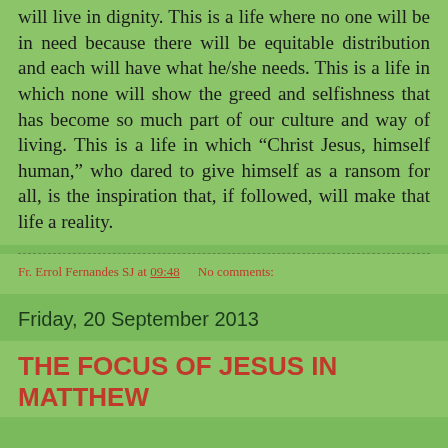will live in dignity. This is a life where no one will be in need because there will be equitable distribution and each will have what he/she needs. This is a life in which none will show the greed and selfishness that has become so much part of our culture and way of living. This is a life in which “Christ Jesus, himself human,” who dared to give himself as a ransom for all, is the inspiration that, if followed, will make that life a reality.
Fr. Errol Fernandes SJ at 09:48    No comments:
Friday, 20 September 2013
THE FOCUS OF JESUS IN MATTHEW